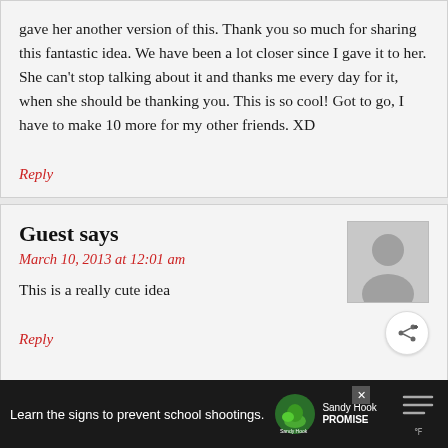gave her another version of this. Thank you so much for sharing this fantastic idea. We have been a lot closer since I gave it to her. She can't stop talking about it and thanks me every day for it, when she should be thanking you. This is so cool! Got to go, I have to make 10 more for my other friends. XD
Reply
Guest says
March 10, 2013 at 12:01 am
This is a really cute idea
Reply
Guest says
WHAT'S NEXT → Nail Polish Seashells
Learn the signs to prevent school shootings. Sandy Hook Promise